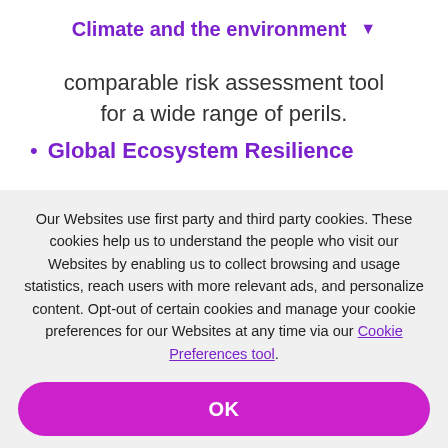Climate and the environment
comparable risk assessment tool for a wide range of perils.
Global Ecosystem Resilience
Our Websites use first party and third party cookies. These cookies help us to understand the people who visit our Websites by enabling us to collect browsing and usage statistics, reach users with more relevant ads, and personalize content. Opt-out of certain cookies and manage your cookie preferences for our Websites at any time via our Cookie Preferences tool.
Privacy Policy
OK